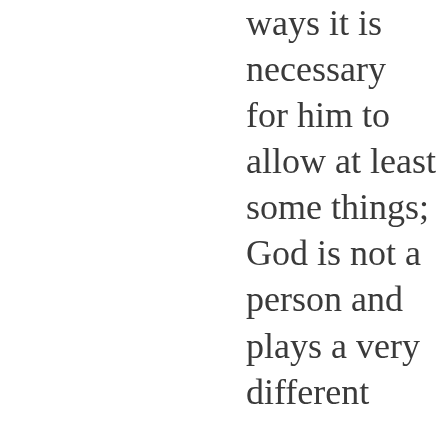ways it is necessary for him to allow at least some things; God is not a person and plays a very different